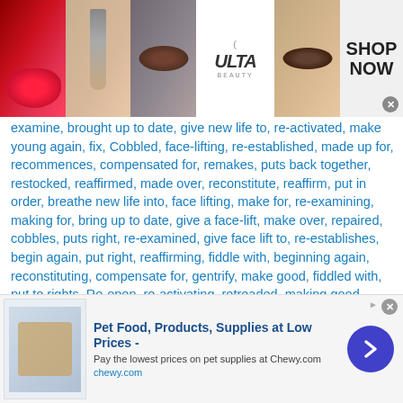[Figure (screenshot): Ulta Beauty top advertisement banner with makeup images (lips, brush, eye), Ulta Beauty logo, and SHOP NOW button]
examine, brought up to date, give new life to, re-activated, make young again, fix, Cobbled, face-lifting, re-established, made up for, recommences, compensated for, remakes, puts back together, restocked, reaffirmed, made over, reconstitute, reaffirm, put in order, breathe new life into, face lifting, make for, re-examining, making for, bring up to date, give a face-lift, make over, repaired, cobbles, puts right, re-examined, give face lift to, re-establishes, begin again, put right, reaffirming, fiddle with, beginning again, reconstituting, compensate for, gentrify, make good, fiddled with, put to rights, Re-open, re-activating, retreaded, making good, cobble, Resumed, cobbling, began again, reconstituted, reconstitutes, compensating for, put back together, re-create, revitalize, restocking,
[Figure (screenshot): Chewy.com pet food advertisement banner at bottom with product images, title 'Pet Food, Products, Supplies at Low Prices -', subtitle 'Pay the lowest prices on pet supplies at Chewy.com', URL 'chewy.com', and a blue arrow button]